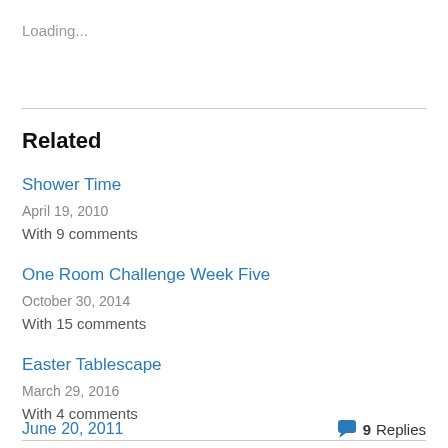Loading...
Related
Shower Time
April 19, 2010
With 9 comments
One Room Challenge Week Five
October 30, 2014
With 15 comments
Easter Tablescape
March 29, 2016
With 4 comments
June 20, 2011   9 Replies